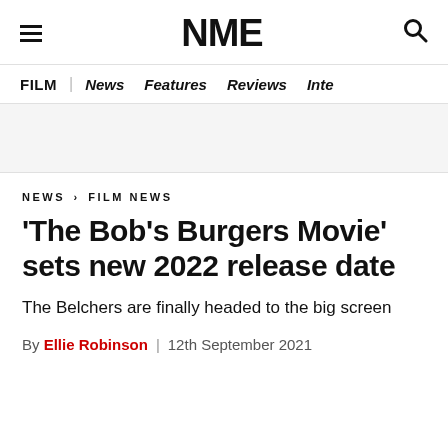NME
FILM | News Features Reviews Inte
NEWS › FILM NEWS
'The Bob's Burgers Movie' sets new 2022 release date
The Belchers are finally headed to the big screen
By Ellie Robinson | 12th September 2021